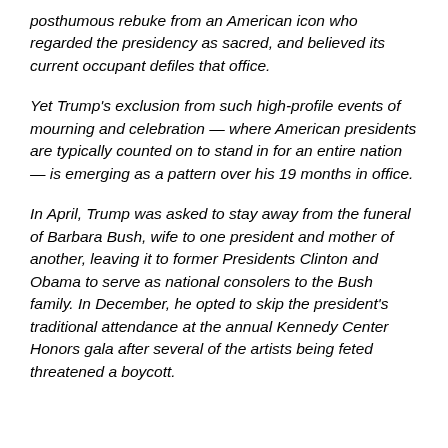posthumous rebuke from an American icon who regarded the presidency as sacred, and believed its current occupant defiles that office.
Yet Trump's exclusion from such high-profile events of mourning and celebration — where American presidents are typically counted on to stand in for an entire nation — is emerging as a pattern over his 19 months in office.
In April, Trump was asked to stay away from the funeral of Barbara Bush, wife to one president and mother of another, leaving it to former Presidents Clinton and Obama to serve as national consolers to the Bush family. In December, he opted to skip the president's traditional attendance at the annual Kennedy Center Honors gala after several of the artists being feted threatened a boycott.